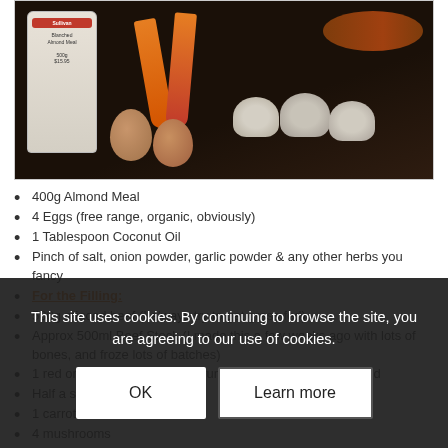[Figure (photo): Photo of recipe ingredients on a dark wooden surface: a bag of blanched almond meal, three carrots, a sweet potato, two eggs, and three mushrooms]
400g Almond Meal
4 Eggs (free range, organic, obviously)
1 Tablespoon Coconut Oil
Pinch of salt, onion powder, garlic powder & any other herbs you fancy
For the Filling:
500g minced beef (I always try to get grass fed)
Approx 500ml Beef Stock (I made this a few weeks ago with lots of bones, and froze lots of batches)
1 red onion (only because I'd run out of brown onions), diced
Half a sweet potato, diced
1 carrot, diced
4 mushrooms
Pinch of garlic powder, salt, oregano & any other herbs you select
Instructions
1. Mix the crust ingredients together to form a big ball of
Cookie banner: This site uses cookies. By continuing to browse the site, you are agreeing to our use of cookies.